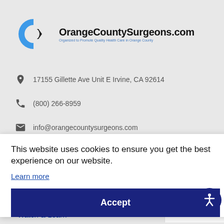[Figure (logo): OrangeCountySurgeons.com logo with blue C shape and black text, tagline: Organized to Promote Quality Health Care in Orange County]
17155 Gillette Ave Unit E Irvine, CA 92614
(800) 266-8959
info@orangecountysurgeons.com
This website uses cookies to ensure you get the best experience on our website. Learn more
Accept
Watch & Learn